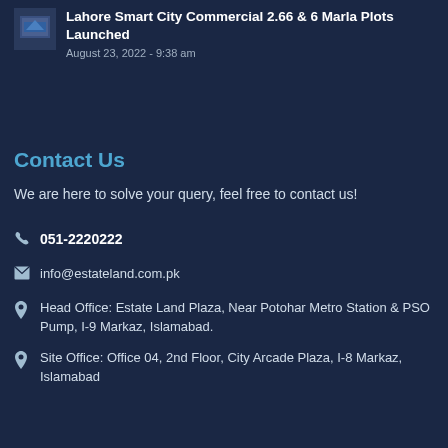Lahore Smart City Commercial 2.66 & 6 Marla Plots Launched
August 23, 2022 - 9:38 am
Contact Us
We are here to solve your query, feel free to contact us!
051-2220222
info@estateland.com.pk
Head Office: Estate Land Plaza, Near Potohar Metro Station & PSO Pump, I-9 Markaz, Islamabad.
Site Office: Office 04, 2nd Floor, City Arcade Plaza, I-8 Markaz, Islamabad